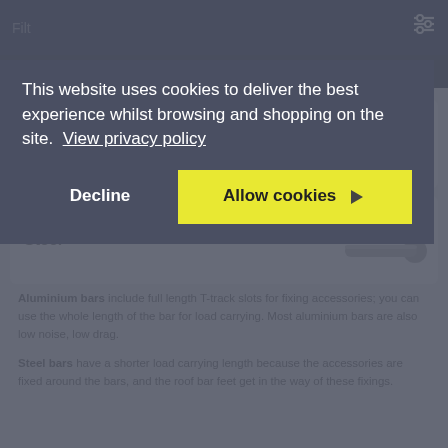This website uses cookies to deliver the best experience whilst browsing and shopping on the site.  View privacy policy
Decline
Allow cookies
Aluminium or Steel Bars:
Aluminium
Steel
Aluminium bars include full length T-track slots for fixing accessories; you can use the whole length of the bar for load carrying. Most aluminium bars are also low noise, low drag.
Steel bars have a shorter load carrying length because the accessories are fixed around the bars, and the roof bar feet get in the way of these fixings.